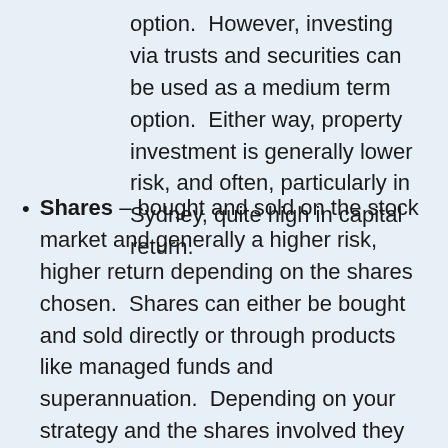option.  However, investing via trusts and securities can be used as a medium term option.  Either way, property investment is generally lower risk, and often, particularly in Sydney, quite high in capital return.
Shares – bought and sold on the stock market and generally a higher risk, higher return depending on the shares chosen.  Shares can either be bought and sold directly or through products like managed funds and superannuation.  Depending on your strategy and the shares involved they can be either short term or long term